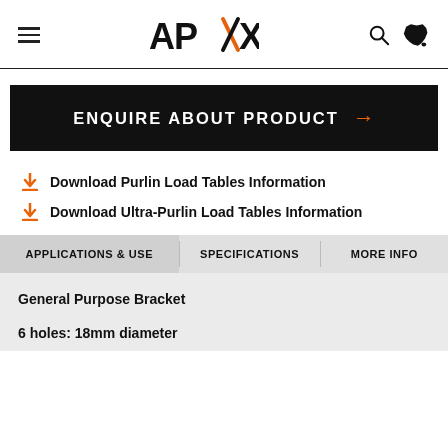APEX
ENQUIRE ABOUT PRODUCT →
Download Purlin Load Tables Information
Download Ultra-Purlin Load Tables Information
APPLICATIONS & USE | SPECIFICATIONS | MORE INFO
General Purpose Bracket
6 holes: 18mm diameter